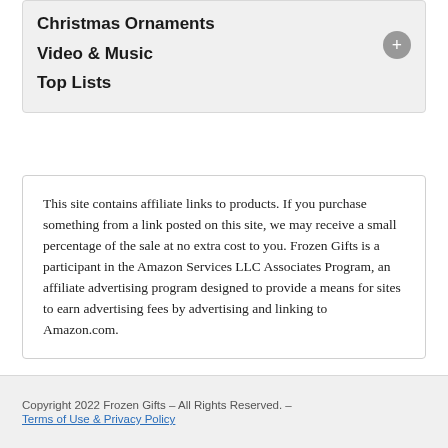Christmas Ornaments
Video & Music
Top Lists
This site contains affiliate links to products. If you purchase something from a link posted on this site, we may receive a small percentage of the sale at no extra cost to you. Frozen Gifts is a participant in the Amazon Services LLC Associates Program, an affiliate advertising program designed to provide a means for sites to earn advertising fees by advertising and linking to Amazon.com.
Copyright 2022 Frozen Gifts – All Rights Reserved. – Terms of Use & Privacy Policy